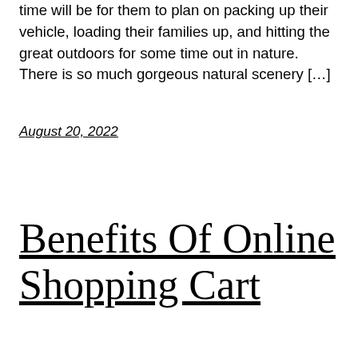time will be for them to plan on packing up their vehicle, loading their families up, and hitting the great outdoors for some time out in nature. There is so much gorgeous natural scenery […]
August 20, 2022
Benefits Of Online Shopping Cart